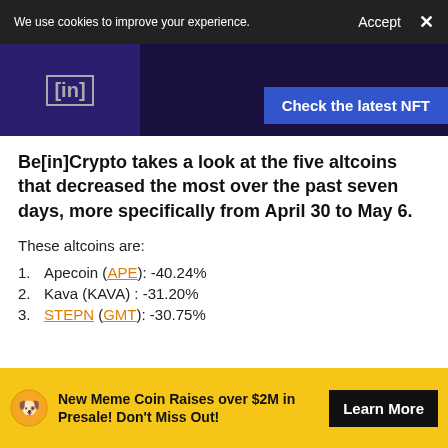We use cookies to improve your experience.   Accept   ×
[Figure (screenshot): Dark blue/purple hero image with [in] tag logo on left and 'Check the latest NFT' blue button on right]
Be[in]Crypto takes a look at the five altcoins that decreased the most over the past seven days, more specifically from April 30 to May 6.
These altcoins are:
Apecoin (APE): -40.24%
Kava (KAVA) : -31.20%
STEPN (GMT): -30.75%
New Meme Coin Raises over $2M in Presale! Don't Miss Out!   Learn More